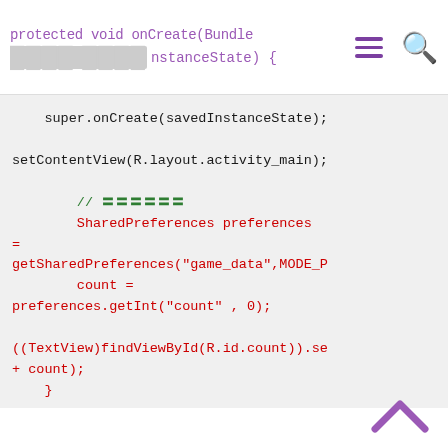protected void onCreate(Bundle 〓〓〓〓 〓〓〓〓nstanceState) {
super.onCreate(savedInstanceState);

setContentView(R.layout.activity_main);

        // 〓〓〓〓〓〓
        SharedPreferences preferences =
getSharedPreferences("game_data",MODE_P
        count =
preferences.getInt("count" , 0);

((TextView)findViewById(R.id.count)).se
+ count);
    }